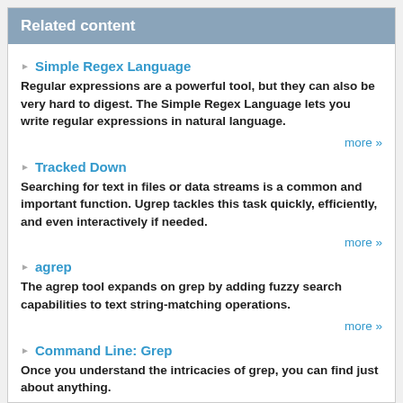Related content
Simple Regex Language
Regular expressions are a powerful tool, but they can also be very hard to digest. The Simple Regex Language lets you write regular expressions in natural language.
Tracked Down
Searching for text in files or data streams is a common and important function. Ugrep tackles this task quickly, efficiently, and even interactively if needed.
agrep
The agrep tool expands on grep by adding fuzzy search capabilities to text string-matching operations.
Command Line: Grep
Once you understand the intricacies of grep, you can find just about anything.